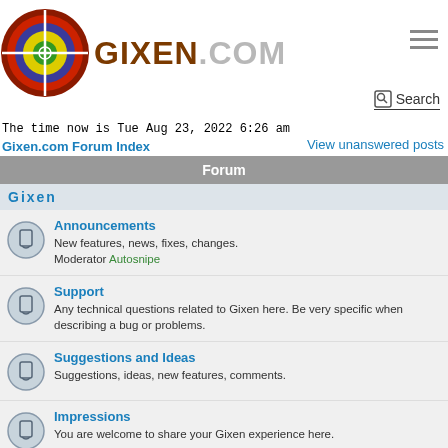[Figure (logo): Gixen.com logo with circular target/archery graphic and GIXEN.COM text]
The time now is Tue Aug 23, 2022 6:26 am
Gixen.com Forum Index
View unanswered posts
Forum
Gixen
Announcements
New features, news, fixes, changes.
Moderator Autosnipe
Support
Any technical questions related to Gixen here. Be very specific when describing a bug or problems.
Suggestions and Ideas
Suggestions, ideas, new features, comments.
Impressions
You are welcome to share your Gixen experience here.
Blog
Mario's Gixen Blog for Gixen enthusiasts. Read & post your comments.